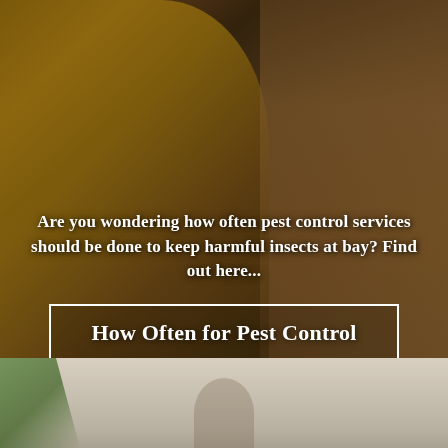[Figure (photo): A pest control worker in a yellow protective suit and white mask holding a spraying device, photographed indoors near wooden shelving. The image is darkened with an overlay.]
Are you wondering how often pest control services should be done to keep harmful insects at bay? Find out here...
How Often for Pest Control
[Figure (photo): Lower portion of a second photo showing green leaves on the left and a blurry figure in a light-colored interior setting.]